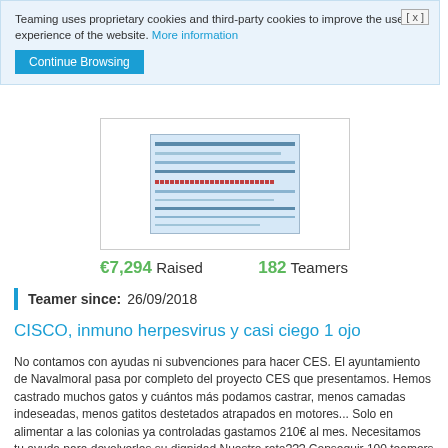Teaming uses proprietary cookies and third-party cookies to improve the user experience of the website. More information
Continue Browsing
[Figure (screenshot): Small thumbnail image showing a table/spreadsheet document]
€7,294 Raised   182 Teamers
Teamer since: 26/09/2018
CISCO, inmuno herpesvirus y casi ciego 1 ojo
No contamos con ayudas ni subvenciones para hacer CES. El ayuntamiento de Navalmoral pasa por completo del proyecto CES que presentamos. Hemos castrado muchos gatos y cuántos más podamos castrar, menos camadas indeseadas, menos gatitos destetados atrapados en motores... Solo en alimentar a las colonias ya controladas gastamos 210€ al mes. Necesitamos tu ayuda para devolverles su dignidad Nuestro reto??? Conseguir 100 teamers en el grupo para poder castrar 2 gatos al mes. ¿Te unes?